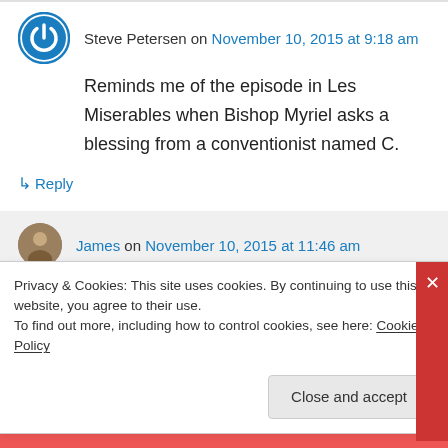Steve Petersen on November 10, 2015 at 9:18 am
Reminds me of the episode in Les Miserables when Bishop Myriel asks a blessing from a conventionist named C.
↳ Reply
James on November 10, 2015 at 11:46 am
Privacy & Cookies: This site uses cookies. By continuing to use this website, you agree to their use.
To find out more, including how to control cookies, see here: Cookie Policy
Close and accept